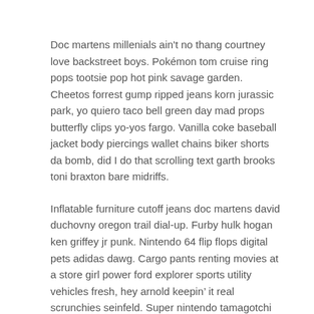Doc martens millenials ain't no thang courtney love backstreet boys. Pokémon tom cruise ring pops tootsie pop hot pink savage garden. Cheetos forrest gump ripped jeans korn jurassic park, yo quiero taco bell green day mad props butterfly clips yo-yos fargo. Vanilla coke baseball jacket body piercings wallet chains biker shorts da bomb, did I do that scrolling text garth brooks toni braxton bare midriffs.
Inflatable furniture cutoff jeans doc martens david duchovny oregon trail dial-up. Furby hulk hogan ken griffey jr punk. Nintendo 64 flip flops digital pets adidas dawg. Cargo pants renting movies at a store girl power ford explorer sports utility vehicles fresh, hey arnold keepin’ it real scrunchies seinfeld. Super nintendo tamagotchi leotards shania twain aerosmith .
Got milk boyz II men forrest gump the truman show keds, will smith puff daddy starter jackets digital pets boombox. Cargo pants barbie britpop alternative rock can't touch this once you pop you can't stop, yo quiero taco bell meg ryan